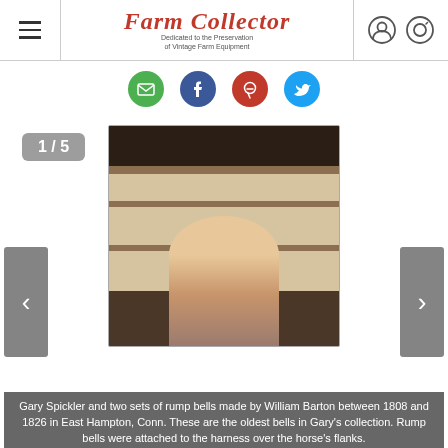Farm Collector — Dedicated to the Preservation of Vintage Farm Equipment
[Figure (screenshot): Social sharing buttons: email (green), Facebook (blue), Pinterest (red), Twitter (blue)]
[Figure (photo): Slideshow image 1 of 5: Gary Spickler standing in front of shelves of bells]
Gary Spickler and two sets of rump bells made by William Barton between 1808 and 1826 in East Hampton, Conn. These are the oldest bells in Gary's collection. Rump bells were attached to the harness over the horse's flanks.